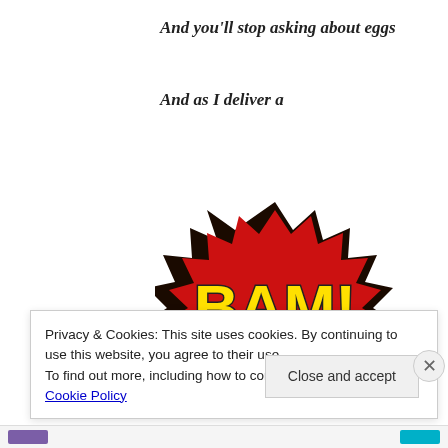And you'll stop asking about eggs
And as I deliver a
[Figure (illustration): Comic-style BAM! explosion graphic with red starburst shape and bold yellow text reading BAM! with black outline]
Privacy & Cookies: This site uses cookies. By continuing to use this website, you agree to their use.
To find out more, including how to control cookies, see here: Cookie Policy
Close and accept